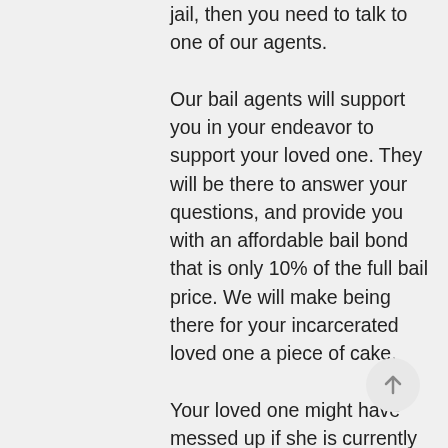jail, then you need to talk to one of our agents.
Our bail agents will support you in your endeavor to support your loved one. They will be there to answer your questions, and provide you with an affordable bail bond that is only 10% of the full bail price. We will make being there for your incarcerated loved one a piece of cake.
Your loved one might have messed up if she is currently stuck behind bars, but that doesn't meant that you should abandon her. She needs your help to get out of jail and move beyond this. Just think, with your help, your loved one can learn from this experience and become a better person. Shouldn't you give her that